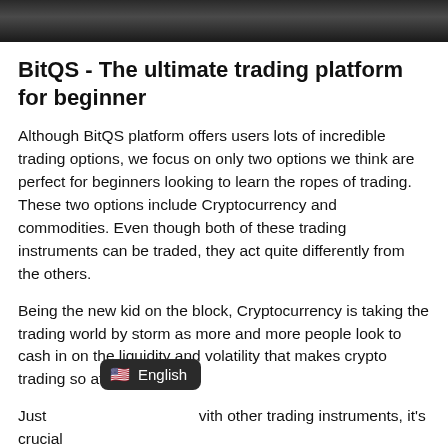[Figure (photo): Dark header image, appears to be a cropped photo with dark tones]
BitQS - The ultimate trading platform for beginner
Although BitQS platform offers users lots of incredible trading options, we focus on only two options we think are perfect for beginners looking to learn the ropes of trading. These two options include Cryptocurrency and commodities. Even though both of these trading instruments can be traded, they act quite differently from the others.
Being the new kid on the block, Cryptocurrency is taking the trading world by storm as more and more people look to cash in on the liquidity and volatility that makes crypto trading so attractive.
Just with other trading instruments, it's crucial to vi ny like other types of currencies, let's o